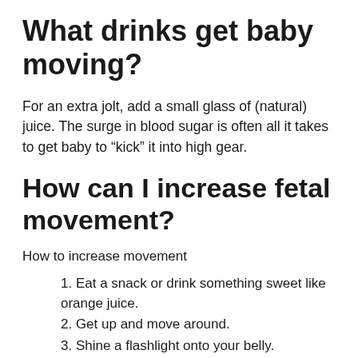What drinks get baby moving?
For an extra jolt, add a small glass of (natural) juice. The surge in blood sugar is often all it takes to get baby to “kick” it into high gear.
How can I increase fetal movement?
How to increase movement
Eat a snack or drink something sweet like orange juice.
Get up and move around.
Shine a flashlight onto your belly.